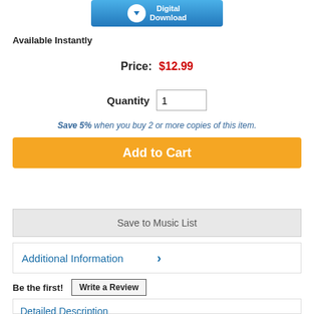[Figure (illustration): Digital Download badge with blue gradient background and download arrow icon]
Available Instantly
Price: $12.99
Quantity 1
Save 5% when you buy 2 or more copies of this item.
Add to Cart
Save to Music List
Additional Information
Be the first! Write a Review
Detailed Description